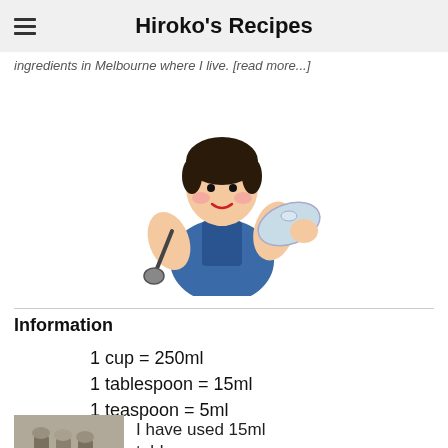Hiroko's Recipes
ingredients in Melbourne where I live. [read more...]
[Figure (illustration): Cartoon illustration of a woman in a blue apron holding a ladle and a pot lid, smiling]
Information
1 cup = 250ml
1 tablespoon = 15ml
1 teaspoon = 5ml
[Figure (photo): Photo of measuring spoons]
I have used 15ml tablespoon